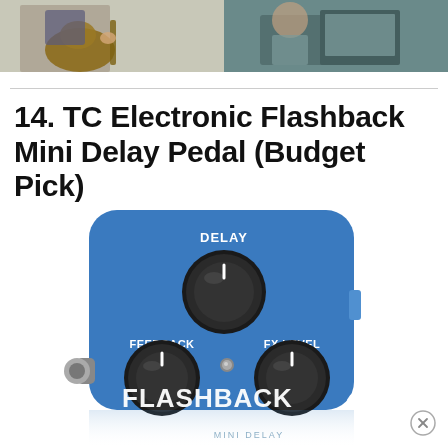[Figure (photo): Top portion showing two people: on left a person playing an electric guitar, on right a person sitting at a desk with computer equipment.]
14. TC Electronic Flashback Mini Delay Pedal (Budget Pick)
[Figure (photo): TC Electronic Flashback Mini Delay Pedal in blue color with three knobs labeled DELAY, FEEDBACK, and FX LEVEL, with FLASHBACK MINI DELAY text at the bottom.]